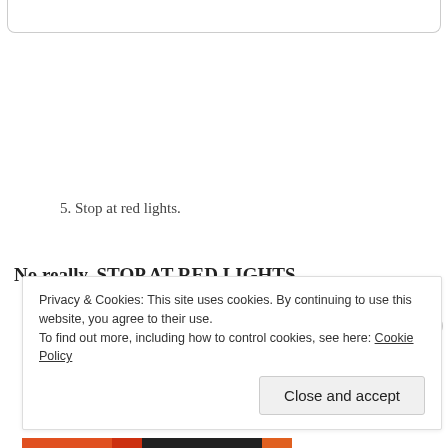[Figure (other): Top of a rounded card/box element, partially visible at the top of the page]
5. Stop at red lights.
No really, STOP AT RED LIGHTS.
Privacy & Cookies: This site uses cookies. By continuing to use this website, you agree to their use.
To find out more, including how to control cookies, see here: Cookie Policy
Close and accept